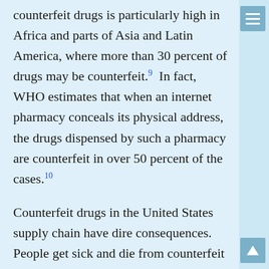counterfeit drugs is particularly high in Africa and parts of Asia and Latin America, where more than 30 percent of drugs may be counterfeit.9  In fact, WHO estimates that when an internet pharmacy conceals its physical address, the drugs dispensed by such a pharmacy are counterfeit in over 50 percent of the cases.10
Counterfeit drugs in the United States supply chain have dire consequences. People get sick and die from counterfeit medications.  In the past, some consumers have been poisoned by toxic